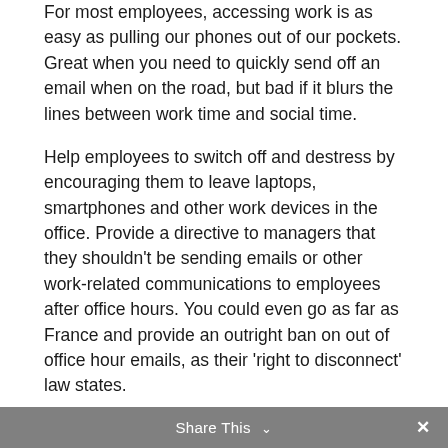For most employees, accessing work is as easy as pulling our phones out of our pockets. Great when you need to quickly send off an email when on the road, but bad if it blurs the lines between work time and social time.
Help employees to switch off and destress by encouraging them to leave laptops, smartphones and other work devices in the office. Provide a directive to managers that they shouldn't be sending emails or other work-related communications to employees after office hours. You could even go as far as France and provide an outright ban on out of office hour emails, as their 'right to disconnect' law states.
Share This ∨  ✕